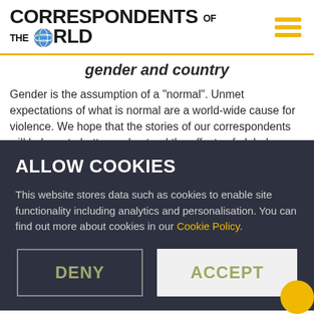CORRESPONDENTS OF THE WORLD
gender and country
Gender is the assumption of a "normal". Unmet expectations of what is normal are a world-wide cause for violence. We hope that the stories of our correspondents will help us to better understand the effects of global developments related to gender and country to understand that
ALLOW COOKIES
This website stores data such as cookies to enable site functionality including analytics and personalisation. You can find out more about cookies in our Cookie Policy.
DENY | ACCEPT